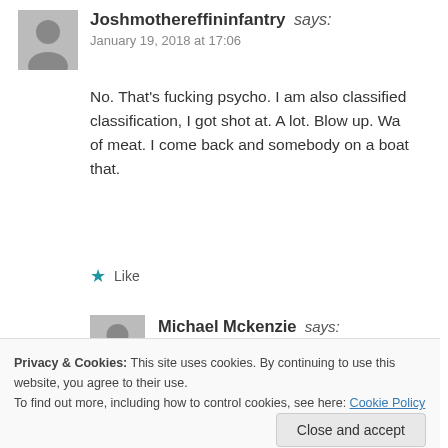Joshmothereffininfantry says: January 19, 2018 at 17:06
No. That's fucking psycho. I am also classified classification, I got shot at. A lot. Blow up. Wa of meat. I come back and somebody on a boat that.
Like
Michael Mckenzie says: October 5, 2018 at 14:38
Have you ever been on the flight deck
Privacy & Cookies: This site uses cookies. By continuing to use this website, you agree to their use. To find out more, including how to control cookies, see here: Cookie Policy
Close and accept